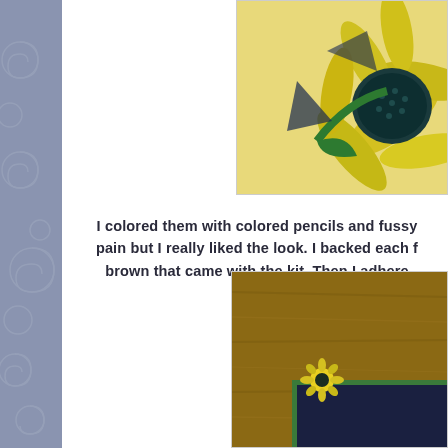[Figure (photo): Close-up photo of a colorful sunflower with yellow petals and dark teal/blue center on a yellow background, cropped showing upper right portion]
I colored them with colored pencils and fussy pain but I really liked the look. I backed each f brown that came with the kit. Then I adhere
[Figure (photo): Photo showing a wooden surface with dark navy/teal box or album with small sunflower embellishment, green trim visible]